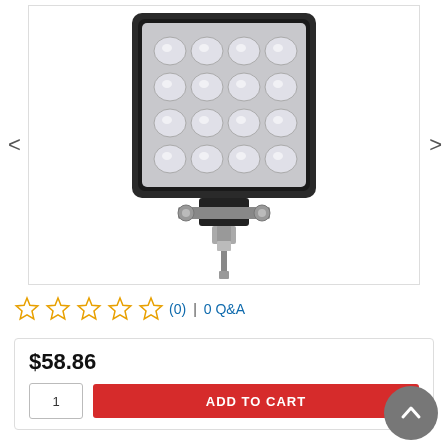[Figure (photo): LED work light product photo showing a square black housing with multiple LED bulbs in a grid pattern and a metal mounting bracket at the bottom with bolt hardware. Navigation arrows on left and right sides of image.]
(0) | 0 Q&A — star rating row, 0 reviews
$58.86
ADD TO CART